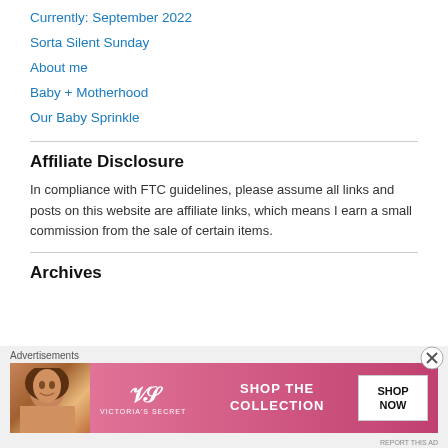Currently: September 2022
Sorta Silent Sunday
About me
Baby + Motherhood
Our Baby Sprinkle
Affiliate Disclosure
In compliance with FTC guidelines, please assume all links and posts on this website are affiliate links, which means I earn a small commission from the sale of certain items.
Archives
[Figure (other): Victoria's Secret advertisement banner with model, logo, 'SHOP THE COLLECTION' text and 'SHOP NOW' button on pink background. Close button (X) in top right corner. Labeled 'Advertisements'.]